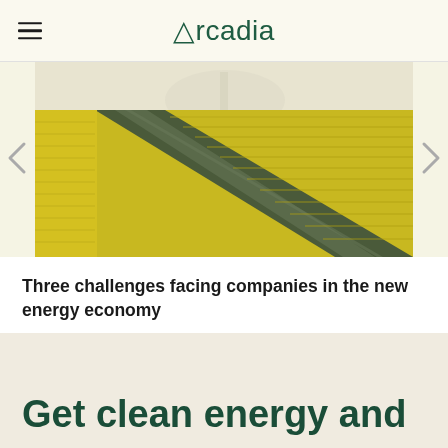Arcadia
[Figure (photo): Aerial view of yellow agricultural fields with diagonal road or path running through them, viewed from above.]
Three challenges facing companies in the new energy economy
To truly understand what’s changing in the “new energy economy,” it’s important to unde…
Get clean energy and